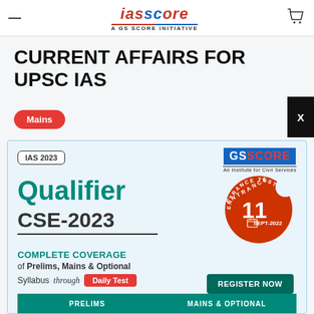IAS Score — A GS Score Initiative
CURRENT AFFAIRS FOR UPSC IAS
Mains
[Figure (screenshot): GS Score promotional banner for Qualifier CSE-2023 course. Shows IAS 2023 badge, GS Score logo, large teal 'Qualifier' heading, dark grey 'CSE-2023' heading, entrance test circle showing date 11 SEPT-2022, Complete Coverage text, Prelims Mains & Optional Syllabus through Daily Test badge, Register Now button, and bottom PRELIMS and MAINS & OPTIONAL buttons.]